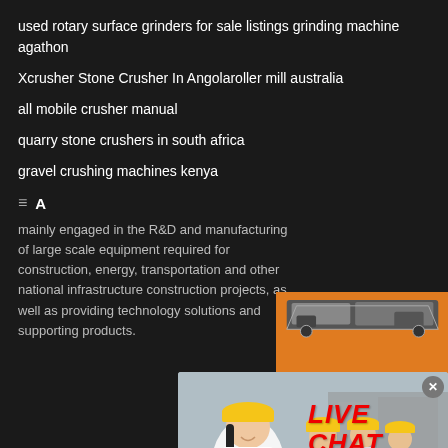used rotary surface grinders for sale listings grinding machine agathon
Xcrusher Stone Crusher In Angolaroller mill australia
all mobile crusher manual
quarry stone crushers in south africa
gravel crushing machines kenya
A
mainly engaged in the R&D and manufacturing of large scale equipment required for construction, energy, transportation and other national infrastructure construction projects, as well as providing technology solutions and supporting products.
[Figure (screenshot): Live chat popup overlay with woman in hard hat and workers in background. Red LIVE CHAT heading, 'Click for a Free Consultation' text, Chat now (red) and Chat later (dark) buttons.]
[Figure (screenshot): Orange sidebar panel showing industrial crushing machinery images, Enjoy 3% discount in yellow bar, Click to Chat in red, Enquiry section, and limingjlmofen@sina.com email.]